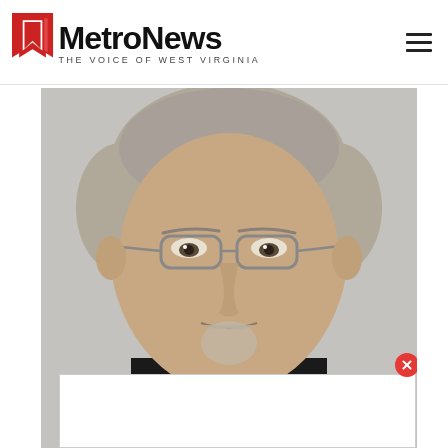[Figure (logo): MetroNews logo with red chevron icon and text 'MetroNews THE VOICE OF WEST VIRGINIA']
[Figure (photo): Headshot of an older man with gray hair, glasses, and a goatee, wearing a dark suit jacket]
[Figure (screenshot): White advertisement overlay box at the bottom of the photo with a red close (X) button]